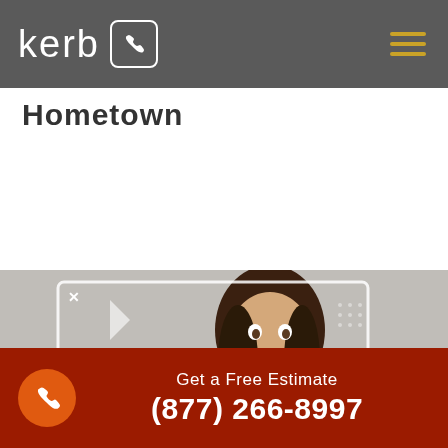[Figure (screenshot): Navigation bar with Kerb logo, phone icon in rounded square, and hamburger menu with gold lines on dark grey background]
Hometown
READ MORE
[Figure (photo): Smiling woman with dark hair holding red tape, cardboard boxes visible, with a phone/video call overlay border UI element on the image]
Get a Free Estimate (877) 266-8997